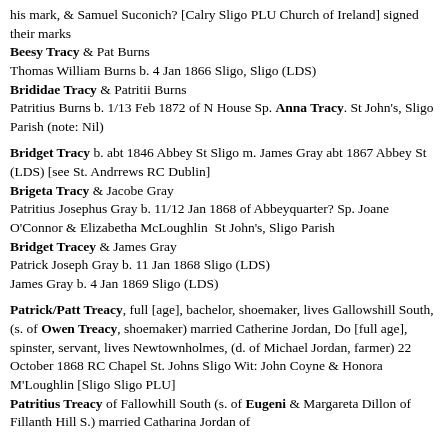his mark, & Samuel Suconich? [Calry Sligo PLU Church of Ireland] signed their marks
Beesy Tracy & Pat Burns
Thomas William Burns b. 4 Jan 1866 Sligo, Sligo (LDS)
Brididae Tracy & Patritii Burns
Patritius Burns b. 1/13 Feb 1872 of N House Sp. Anna Tracy. St John's, Sligo Parish (note: Nil)
Bridget Tracy b. abt 1846 Abbey St Sligo m. James Gray abt 1867 Abbey St (LDS) [see St. Andrrews RC Dublin]
Brigeta Tracy & Jacobe Gray
Patritius Josephus Gray b. 11/12 Jan 1868 of Abbeyquarter? Sp. Joane O'Connor & Elizabetha McLoughlin  St John's, Sligo Parish
Bridget Tracey & James Gray
Patrick Joseph Gray b. 11 Jan 1868 Sligo (LDS)
James Gray b. 4 Jan 1869 Sligo (LDS)
Patrick/Patt Treacy, full [age], bachelor, shoemaker, lives Gallowshill South, (s. of Owen Treacy, shoemaker) married Catherine Jordan, Do [full age], spinster, servant, lives Newtownholmes, (d. of Michael Jordan, farmer) 22 October 1868 RC Chapel St. Johns Sligo Wit: John Coyne & Honora M'Loughlin [Sligo Sligo PLU]
Patritius Treacy of Fallowhill South (s. of Eugeni & Margareta Dillon of Fillanth Hill S.) married Catharina Jordan of